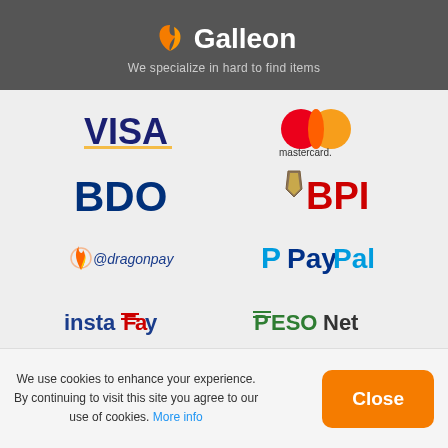[Figure (logo): Galleon logo with orange bird icon and white text 'Galleon' on dark gray background]
We specialize in hard to find items
[Figure (logo): VISA logo in blue and gold]
[Figure (logo): Mastercard logo with overlapping red and orange/yellow circles]
[Figure (logo): BDO logo in dark blue bold text]
[Figure (logo): BPI logo with shield icon and red text]
[Figure (logo): dragonpay logo with flame/dragon icon]
[Figure (logo): PayPal logo with blue P icon and blue/dark text]
[Figure (logo): InstaPay logo in blue with red accent]
[Figure (logo): PESONet logo in green and dark text]
FOLLOW US
[Figure (logo): Facebook, Instagram, Twitter social media icons in circles]
We use cookies to enhance your experience. By continuing to visit this site you agree to our use of cookies. More info